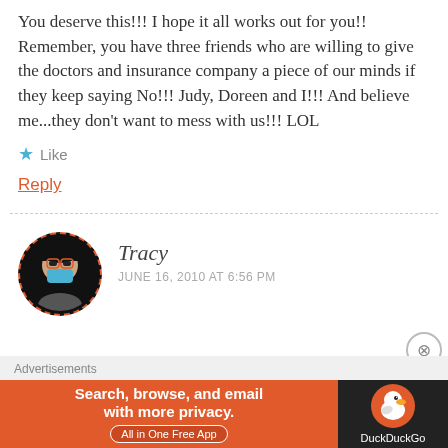You deserve this!!! I hope it all works out for you!! Remember, you have three friends who are willing to give the doctors and insurance company a piece of our minds if they keep saying No!!! Judy, Doreen and I!!! And believe me...they don't want to mess with us!!! LOL
★ Like
Reply
Tracy
JUNE 16, 2010 AT 6:56 PM
Advertisements
[Figure (screenshot): DuckDuckGo advertisement banner: 'Search, browse, and email with more privacy. All in One Free App' with DuckDuckGo logo on the right side.]